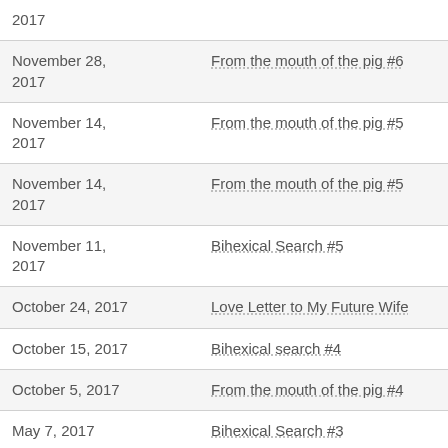| Date | Title |
| --- | --- |
| 2017 |  |
| November 28, 2017 | From the mouth of the pig #6 |
| November 14, 2017 | From the mouth of the pig #5 |
| November 14, 2017 | From the mouth of the pig #5 |
| November 11, 2017 | Bihexical Search #5 |
| October 24, 2017 | Love Letter to My Future Wife |
| October 15, 2017 | Bihexical search #4 |
| October 5, 2017 | From the mouth of the pig #4 |
| May 7, 2017 | Bihexical Search #3 |
| February 2, 2017 | A Clarification |